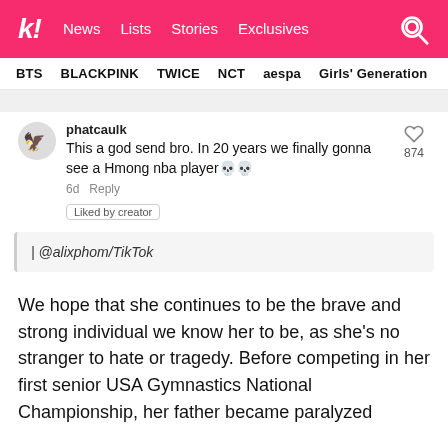k! News  Lists  Stories  Exclusives
BTS  BLACKPINK  TWICE  NCT  aespa  Girls' Generation
[Figure (screenshot): TikTok comment from user 'phatcaulk' saying 'This a god send bro. In 20 years we finally gonna see a Hmong nba player 💀💀' with 874 likes, 6d ago, Liked by creator. Below is a TikTok embed: | @alixphom/TikTok]
We hope that she continues to be the brave and strong individual we know her to be, as she's no stranger to hate or tragedy. Before competing in her first senior USA Gymnastics National Championship, her father became paralyzed